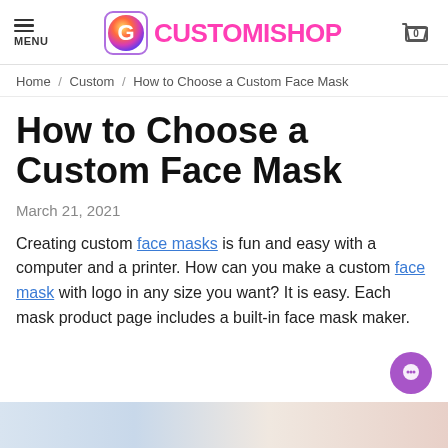MENU | CUSTOMISHOP | 0
Home / Custom / How to Choose a Custom Face Mask
How to Choose a Custom Face Mask
March 21, 2021
Creating custom face masks is fun and easy with a computer and a printer. How can you make a custom face mask with logo in any size you want? It is easy. Each mask product page includes a built-in face mask maker.
[Figure (photo): Bottom edge of a product photo partially visible]